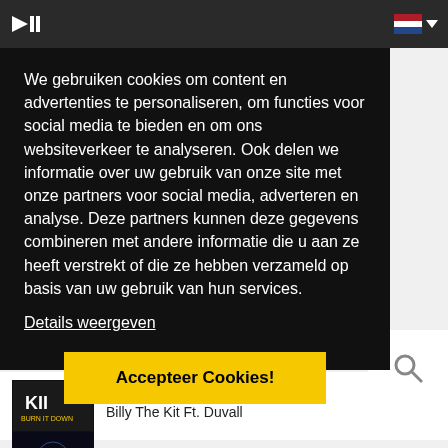Website header navigation bar with logo and language selector
We gebruiken cookies om content en advertenties te personaliseren, om functies voor social media te bieden en om ons websiteverkeer te analyseren. Ook delen we informatie over uw gebruik van onze site met onze partners voor social media, adverteren en analyse. Deze partners kunnen deze gegevens combineren met andere informatie die u aan ze heeft verstrekt of die ze hebben verzameld op basis van uw gebruik van hun services.
Details weergeven
Accepteer Cookies!
22-04-2013 12:21
Billy The Kit Ft. Duvall